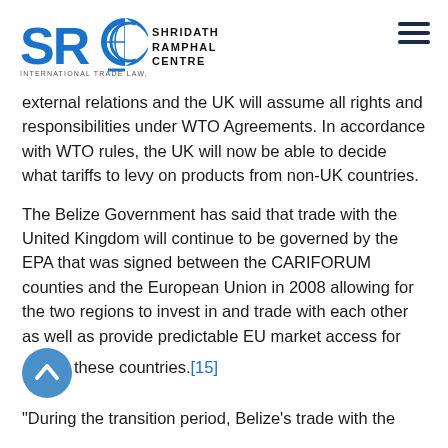SRC SHRIDATH RAMPHAL CENTRE INTERNATIONAL TRADE LAW, POLICY AND SERVICES
external relations and the UK will assume all rights and responsibilities under WTO Agreements. In accordance with WTO rules, the UK will now be able to decide what tariffs to levy on products from non-UK countries.
The Belize Government has said that trade with the United Kingdom will continue to be governed by the EPA that was signed between the CARIFORUM counties and the European Union in 2008 allowing for the two regions to invest in and trade with each other as well as provide predictable EU market access for these countries.[15]
“During the transition period, Belize’s trade with the